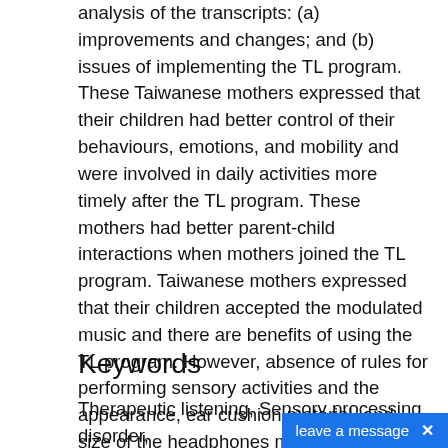analysis of the transcripts: (a) improvements and changes; and (b) issues of implementing the TL program. These Taiwanese mothers expressed that their children had better control of their behaviours, emotions, and mobility and were involved in daily activities more timely after the TL program. These mothers had better parent-child interactions when mothers joined the TL program. Taiwanese mothers expressed that their children accepted the modulated music and there are benefits of using the TL program. However, absence of rules for performing sensory activities and the appearance, ear cushion material, and size of the headphones may limit the use of the TL program in Taiwan. Therefore in order to better apply and promote the TL program in Taiwan, clinicians and researchers could provide specific rules for performing sensory activities and adjust the headphones.
Keywords
Therapeutic listening, Sensory processing disorder, Ethnographic research